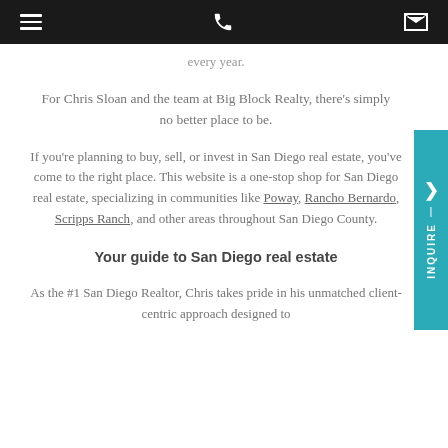[navigation bar with hamburger menu, phone icon, envelope icon]
every year.
For Chris Sloan and the team at Big Block Realty, there's simply no better place to be.
If you're planning to buy, sell, or invest in San Diego real estate, you've come to the right place. This website is a one-stop shop for San Diego real estate, specializing in communities like Poway, Rancho Bernardo, Scripps Ranch, and other areas throughout San Diego County.
Your guide to San Diego real estate
As the #1 San Diego Realtor, Chris takes pride in his unmatched client-centric approach designed to